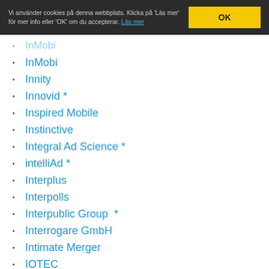Vi använder cookies på denna webbplats. Klicka på 'Läs mer' för mer info eller 'OK' om du accepterar. Läs mer | OK
InMobi
Innity
Innovid *
Inspired Mobile
Instinctive
Integral Ad Science *
intelliAd *
Interplus
Interpolls
Interpublic Group  *
Interrogare GmbH
Intimate Merger
IOTEC
IQM
Jampp
Jivox *
Joystick Interactive